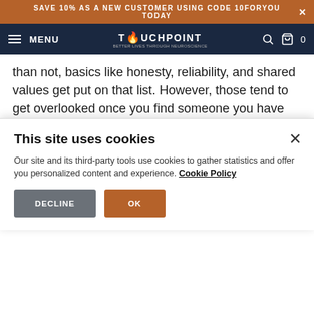SAVE 10% AS A NEW CUSTOMER USING CODE 10FORYOU TODAY
MENU | TOUCHPOINT | 0
than not, basics like honesty, reliability, and shared values get put on that list. However, those tend to get overlooked once you find someone you have great "chemistry" with. According to her, that can unfortunate. "Chemistry, which is a combination of sexual interest plus anxiety, has nothing to do with whether or not someone is compatible with you, of good character, or is
This site uses cookies
Our site and its third-party tools use cookies to gather statistics and offer you personalized content and experience. Cookie Policy
DECLINE
OK